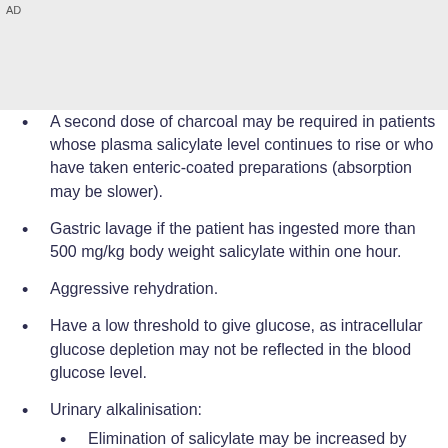AD
A second dose of charcoal may be required in patients whose plasma salicylate level continues to rise or who have taken enteric-coated preparations (absorption may be slower).
Gastric lavage if the patient has ingested more than 500 mg/kg body weight salicylate within one hour.
Aggressive rehydration.
Have a low threshold to give glucose, as intracellular glucose depletion may not be reflected in the blood glucose level.
Urinary alkalinisation:
Elimination of salicylate may be increased by alkalinisation of the urine.[3] The optimum urine pH is 7.5–8.5...